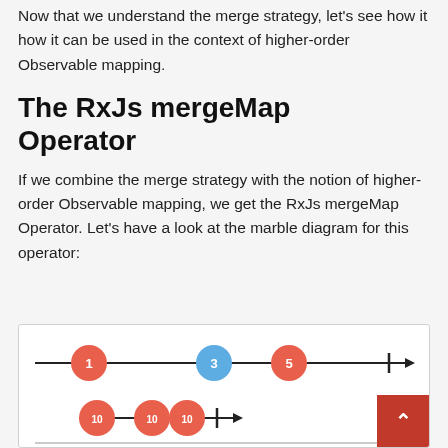Now that we understand the merge strategy, let's see how it how it can be used in the context of higher-order Observable mapping.
The RxJs mergeMap Operator
If we combine the merge strategy with the notion of higher-order Observable mapping, we get the RxJs mergeMap Operator. Let's have a look at the marble diagram for this operator:
[Figure (schematic): Marble diagram showing two timelines. Top timeline has circles labeled 1 (red), 3 (blue), 5 (red) with an arrow. Bottom timeline (shorter) has three circles labeled 10 (red) followed by a completion marker and arrow. A third partial timeline is visible at the bottom edge.]